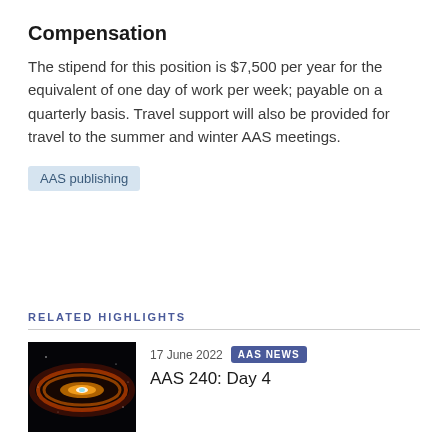Compensation
The stipend for this position is $7,500 per year for the equivalent of one day of work per week; payable on a quarterly basis. Travel support will also be provided for travel to the summer and winter AAS meetings.
AAS publishing
RELATED HIGHLIGHTS
[Figure (photo): Astronomy image showing a galaxy or nebula with red, orange and blue colors on a dark background]
17 June 2022  AAS NEWS
AAS 240: Day 4